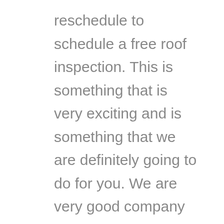reschedule to schedule a free roof inspection. This is something that is very exciting and is something that we are definitely going to do for you. We are very good company and you are going to benefit from us in a variety ways. You are definitely going to love everything that we are going to do for you. We are so excited help.
We are very good at what we do and everything that we do is going to make your life better. We know that you are going to love having amazing what we are